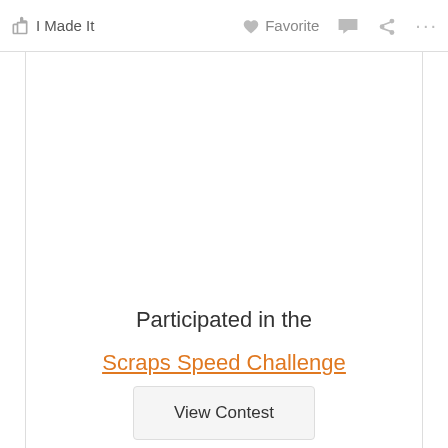✋ I Made It   ♥ Favorite  💬  ⋯
Participated in the
Scraps Speed Challenge
View Contest